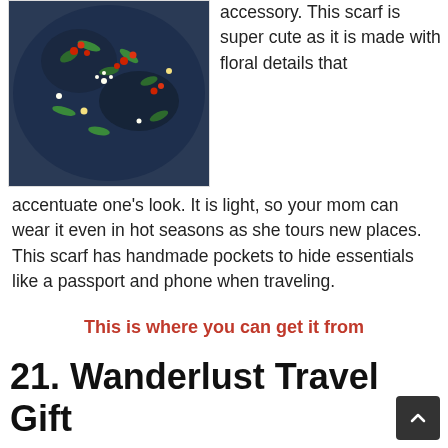[Figure (photo): Photo of a dark navy floral scarf (infinity scarf with floral pattern)]
accessory. This scarf is super cute as it is made with floral details that accentuate one's look. It is light, so your mom can wear it even in hot seasons as she tours new places. This scarf has handmade pockets to hide essentials like a passport and phone when traveling.
This is where you can get it from
21. Wanderlust Travel Gift
[Figure (photo): Photo of a tropical beach scene with palm trees and blue sky]
Your mom, who probably plans to travel for a